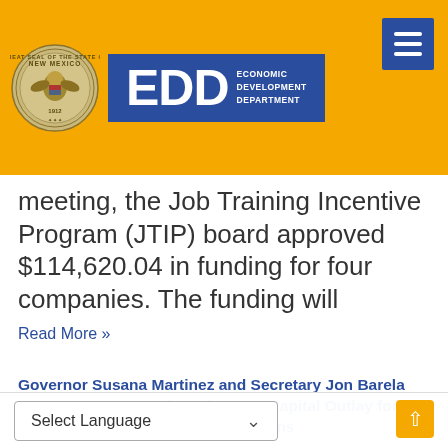[Figure (logo): New Mexico EDD (Economic Development Department) logo with state seal on gold/yellow background header]
meeting, the Job Training Incentive Program (JTIP) board approved $114,620.04 in funding for four companies. The funding will
Read More »
Governor Susana Martinez and Secretary Jon Barela Announce $137,000 in MainStreet Capital Outlay for Phase II of Silco Theater Renovations
Silver City – Today Governor Susana Martinez and Economic Development